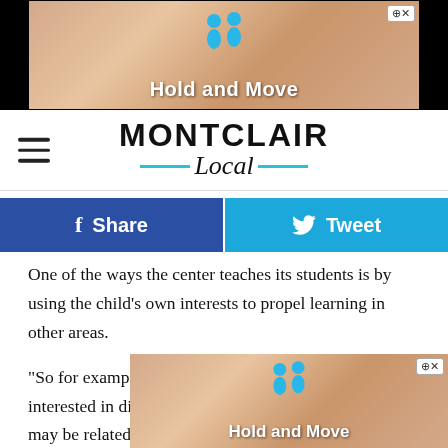[Figure (illustration): Top advertisement banner showing 'Hold and Move' with cartoon figures on a sandy/wooden background, with close button in top right corner]
MONTCLAIR Local
[Figure (infographic): Facebook Share button (blue) and Twitter Tweet button (light blue) social sharing bar]
One of the ways the center teaches its students is by using the child's own interests to propel learning in other areas.
“So for example, if kids in one class are really interested in dinosaurs, everything that they’re learning may be related to dinosaurs, but we’re hitting all of the different domains,” Frigo said. “Literacy, math and social studies, social, emotional learning and art.”
The staff took that foundational premise and applied it to their fa
[Figure (illustration): Bottom advertisement banner showing 'Hold and Move' with cartoon figures on a sandy/wooden background, with close button in top right corner]